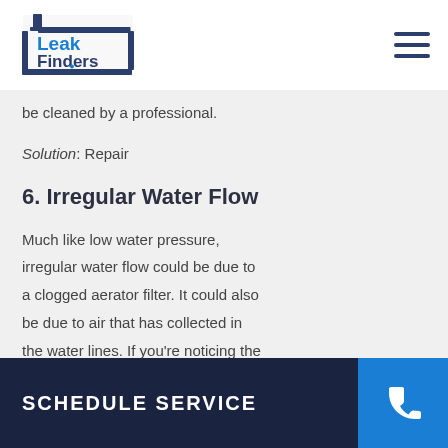Leak Finders
be cleaned by a professional.
Solution: Repair
6. Irregular Water Flow
Much like low water pressure, irregular water flow could be due to a clogged aerator filter. It could also be due to air that has collected in the water lines. If you're noticing the water is spitting, sputtering, or
SCHEDULE SERVICE